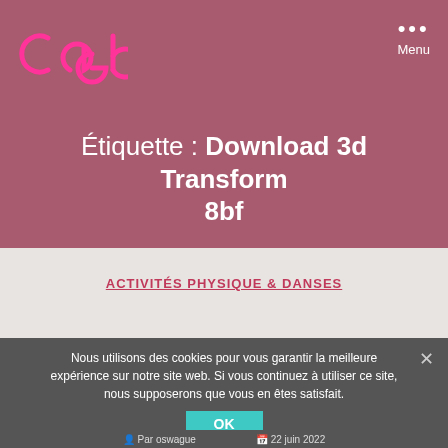[Figure (logo): cael logo in pink on dark rose background]
Menu
Étiquette : Download 3d Transform 8bf
ACTIVITÉS PHYSIQUE & DANSES
Download 3d Transform 8bf Fixed
Nous utilisons des cookies pour vous garantir la meilleure expérience sur notre site web. Si vous continuez à utiliser ce site, nous supposerons que vous en êtes satisfait.
OK
Par oswague   22 juin 2022